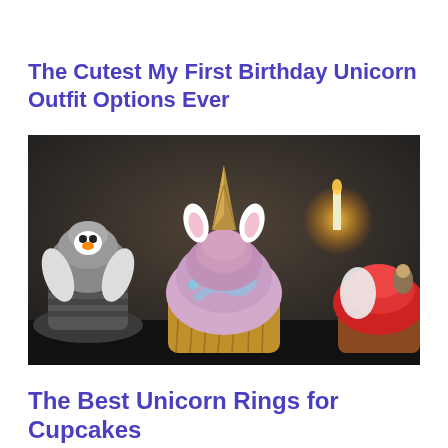The Cutest My First Birthday Unicorn Outfit Options Ever
[Figure (photo): Close-up photo of decorated cupcakes including a unicorn cupcake with a gold horn and ears, pastel purple and blue swirled frosting, along with penguin-themed grey cupcakes and red frosted cupcakes in the background.]
The Best Unicorn Rings for Cupcakes